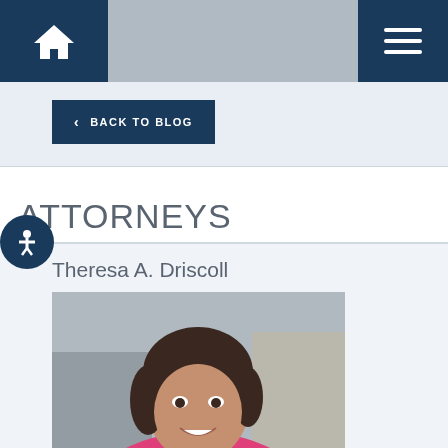Navigation header with home icon and menu icon
< BACK TO BLOG
ATTORNEYS
Theresa A. Driscoll
[Figure (photo): Professional headshot of Theresa A. Driscoll, a woman with short brown hair wearing a pink blazer and pearl necklace, smiling, with a blurred indoor background]